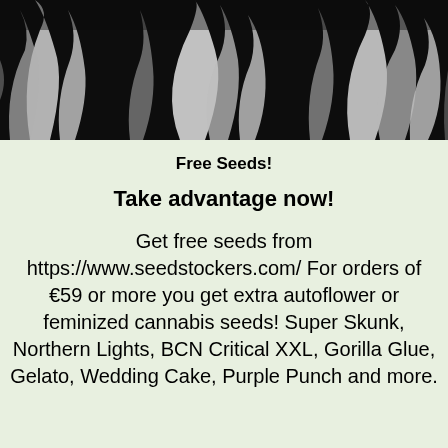[Figure (photo): Black and white close-up photo of cannabis plant leaves and stems against a dark background]
Free Seeds!
Take advantage now!
Get free seeds from https://www.seedstockers.com/ For orders of €59 or more you get extra autoflower or feminized cannabis seeds! Super Skunk, Northern Lights, BCN Critical XXL, Gorilla Glue, Gelato, Wedding Cake, Purple Punch and more.